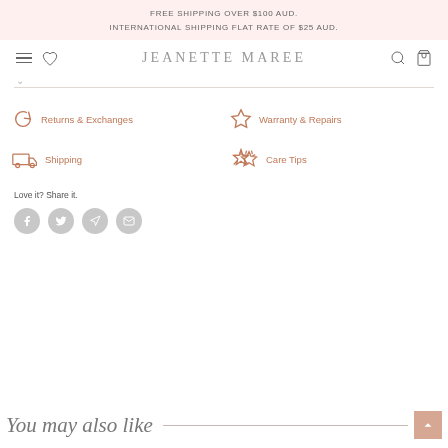FREE SHIPPING OVER $100 AUD.
INTERNATIONAL SHIPPING FLAT RATE OF $25 AUD.
JEANETTE MAREE
Returns & Exchanges
Warranty & Repairs
Shipping
Care Tips
Love it? Share it.
You may also like